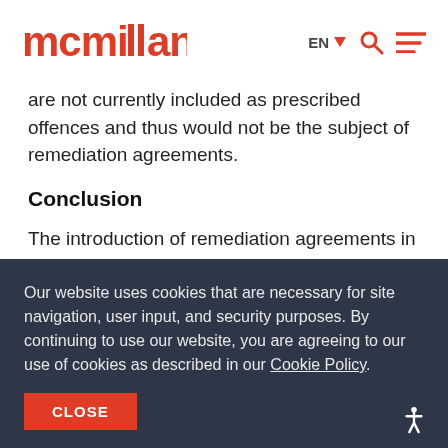mcmillan
are not currently included as prescribed offences and thus would not be the subject of remediation agreements.
Conclusion
The introduction of remediation agreements in Canada is an important form of corporate remediation
Our website uses cookies that are necessary for site navigation, user input, and security purposes. By continuing to use our website, you are agreeing to our use of cookies as described in our Cookie Policy.
CLOSE